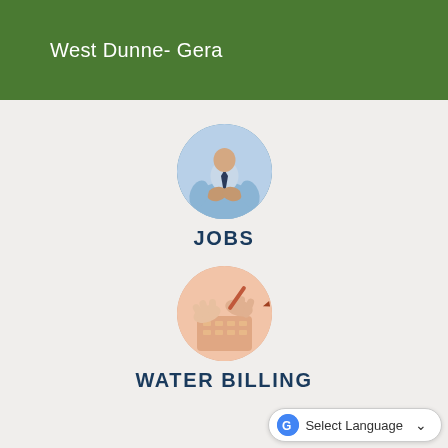West Dunne- Gera
[Figure (illustration): Circular image of a businessman in a blue shirt and tie with hands clasped, representing jobs]
JOBS
[Figure (illustration): Circular image of hands using a calculator/keyboard, representing water billing]
WATER BILLING